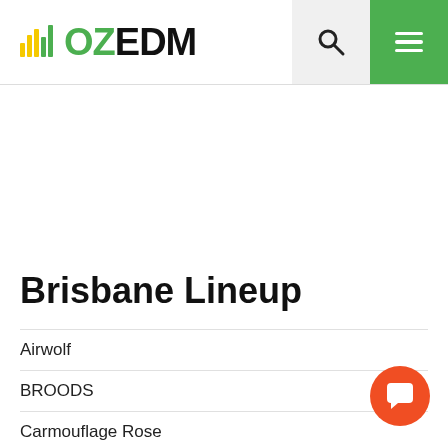OZEDM
Brisbane Lineup
Airwolf
BROODS
Carmouflage Rose
Electric Fields